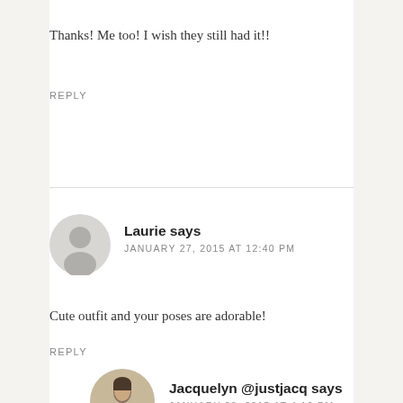Thanks! Me too! I wish they still had it!!
REPLY
[Figure (illustration): Default user avatar: grey circle with silhouette of head and shoulders]
Laurie says
JANUARY 27, 2015 AT 12:40 PM
Cute outfit and your poses are adorable!
REPLY
[Figure (photo): Circular profile photo of Jacquelyn, a woman with dark hair wearing a white top, photographed in front of a brick wall]
Jacquelyn @justjacq says
JANUARY 28, 2015 AT 4:10 PM